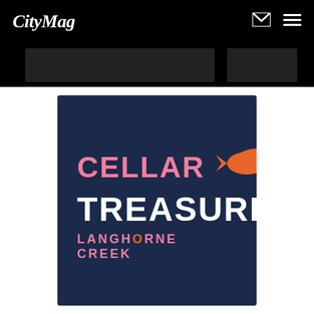CityMag
[Figure (logo): Cellar Treasures Langhorne Creek event logo on dark navy background with orange swift bird holding a wine glass, pink text reading CELLAR, white text reading TREASURES, and pink text reading LANGHORNE CREEK]